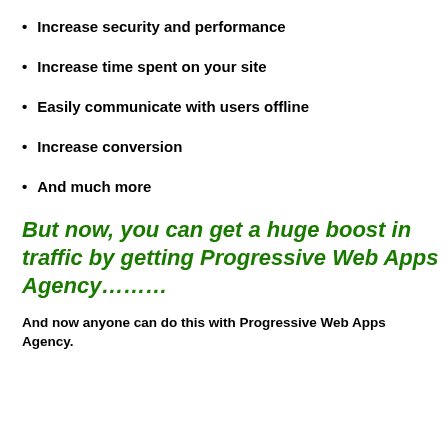Increase security and performance
Increase time spent on your site
Easily communicate with users offline
Increase conversion
And much more
But now, you can get a huge boost in traffic by getting Progressive Web Apps Agency………
And now anyone can do this with Progressive Web Apps Agency.